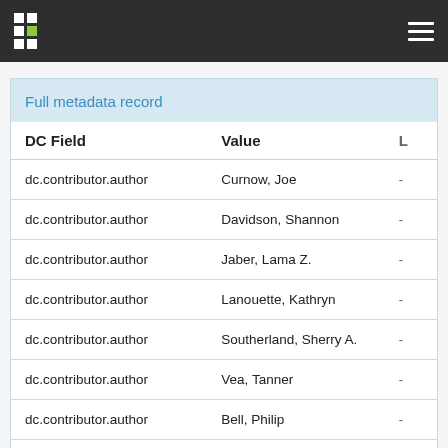Navigation bar with logo and menu
Full metadata record
| DC Field | Value | L |
| --- | --- | --- |
| dc.contributor.author | Curnow, Joe | - |
| dc.contributor.author | Davidson, Shannon | - |
| dc.contributor.author | Jaber, Lama Z. | - |
| dc.contributor.author | Lanouette, Kathryn | - |
| dc.contributor.author | Southerland, Sherry A. | - |
| dc.contributor.author | Vea, Tanner | - |
| dc.contributor.author | Bell, Philip | - |
| dc.contributor.author | Uttamchandani, Suraj | - |